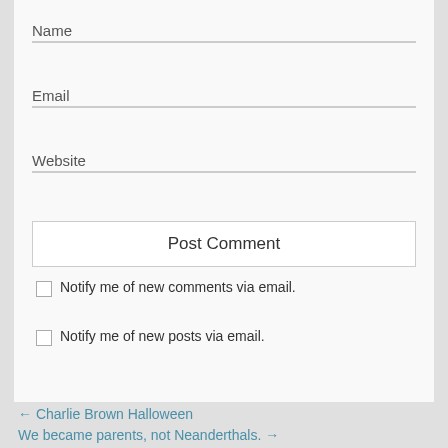Name
Email
Website
Post Comment
Notify me of new comments via email.
Notify me of new posts via email.
← Charlie Brown Halloween
We became parents, not Neanderthals. →